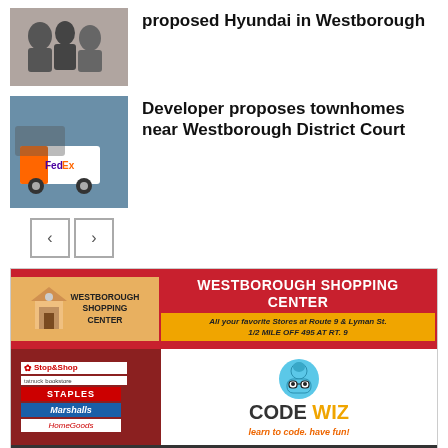proposed Hyundai in Westborough
Featured News
Developer proposes townhomes near Westborough District Court
Featured News
[Figure (illustration): Navigation arrows (left and right chevron buttons)]
[Figure (photo): Westborough Shopping Center advertisement featuring Code Wiz and various store logos including Stop&Shop, Staples, Marshalls, HomeGoods. Text: WESTBOROUGH SHOPPING CENTER, All your favorite Stores at Route 9 & Lyman St. 1/2 MILE OFF 495 AT RT. 9. National Retailers • Restaurants • Shops • Medical Offices • Services]
FOLLOW US